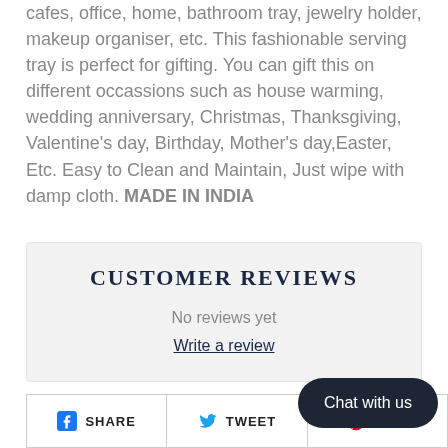cafes, office, home, bathroom tray, jewelry holder, makeup organiser, etc. This fashionable serving tray is perfect for gifting. You can gift this on different occassions such as house warming, wedding anniversary, Christmas, Thanksgiving, Valentine's day, Birthday, Mother's day,Easter, Etc. Easy to Clean and Maintain, Just wipe with damp cloth. MADE IN INDIA
CUSTOMER REVIEWS
No reviews yet
Write a review
SHARE   TWEET   PIN IT
Chat with us